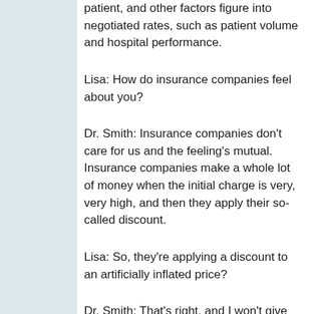patient, and other factors figure into negotiated rates, such as patient volume and hospital performance.
Lisa: How do insurance companies feel about you?
Dr. Smith: Insurance companies don't care for us and the feeling's mutual. Insurance companies make a whole lot of money when the initial charge is very, very high, and then they apply their so-called discount.
Lisa: So, they're applying a discount to an artificially inflated price?
Dr. Smith: That's right, and I won't give them that because all of our prices are onli...